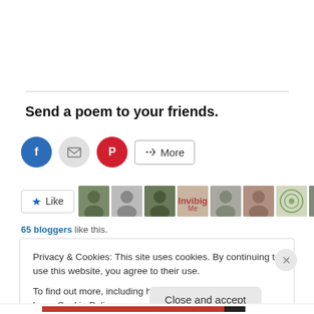Send a poem to your friends.
[Figure (other): Social share buttons: Facebook (blue circle), Email (grey circle), Pinterest (red circle), and a More button with share icon]
[Figure (other): Like button with star icon and a strip of 11 blogger avatar thumbnails]
65 bloggers like this.
Privacy & Cookies: This site uses cookies. By continuing to use this website, you agree to their use.
To find out more, including how to control cookies, see here: Cookie Policy
Close and accept